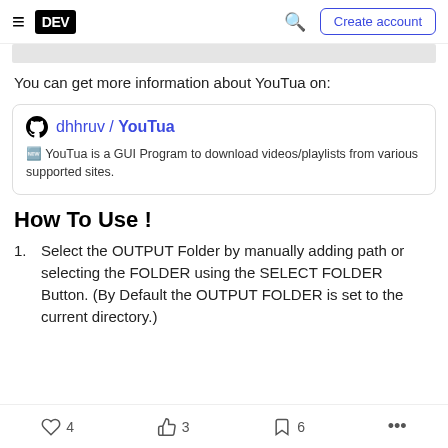DEV — Create account
[Figure (screenshot): Gray bar representing a cropped image/screenshot at the top of the article]
You can get more information about YouTua on:
[Figure (screenshot): GitHub repository card showing: dhhruv / YouTua — YouTua is a GUI Program to download videos/playlists from various supported sites.]
How To Use !
Select the OUTPUT Folder by manually adding path or selecting the FOLDER using the SELECT FOLDER Button. (By Default the OUTPUT FOLDER is set to the current directory.)
4 likes  3 reactions  6 bookmarks  more options